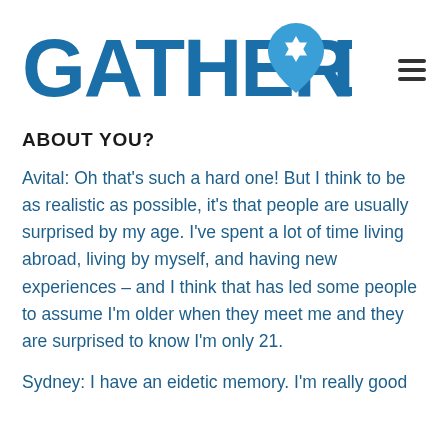[Figure (logo): GatherDC logo — blue text 'GATHER DC' with a map pin icon containing a Star of David in the middle]
ABOUT YOU?
Avital: Oh that's such a hard one! But I think to be as realistic as possible, it's that people are usually surprised by my age. I've spent a lot of time living abroad, living by myself, and having new experiences – and I think that has led some people to assume I'm older when they meet me and they are surprised to know I'm only 21.
Sydney: I have an eidetic memory. I'm really good